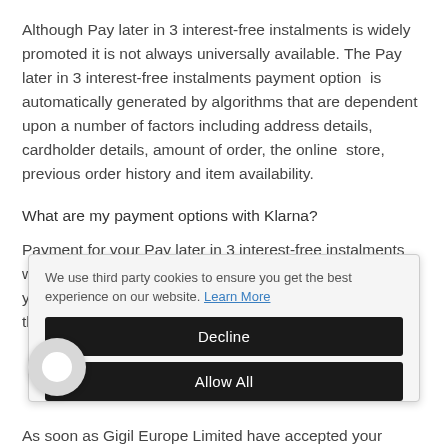Although Pay later in 3 interest-free instalments is widely promoted it is not always universally available. The Pay later in 3 interest-free instalments payment option is automatically generated by algorithms that are dependent upon a number of factors including address details, cardholder details, amount of order, the online store, previous order history and item availability.
What are my payment options with Klarna?
Payment for your Pay later in 3 interest-free instalments will automatically be collected from the debit or credit card you entered at checkout. The first payment is taken when the order is confirmed. The second and third instalments
We use third party cookies to ensure you get the best experience on our website. Learn More
Decline
Allow All
As soon as Gigil Europe Limited have accepted your